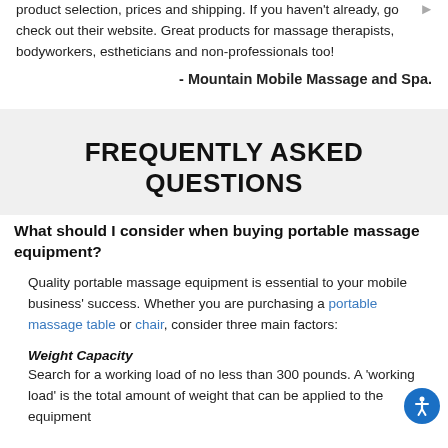product selection, prices and shipping. If you haven't already, go check out their website. Great products for massage therapists, bodyworkers, estheticians and non-professionals too!
- Mountain Mobile Massage and Spa.
FREQUENTLY ASKED QUESTIONS
What should I consider when buying portable massage equipment?
Quality portable massage equipment is essential to your mobile business' success. Whether you are purchasing a portable massage table or chair, consider three main factors:
Weight Capacity
Search for a working load of no less than 300 pounds. A 'working load' is the total amount of weight that can be applied to the equipment